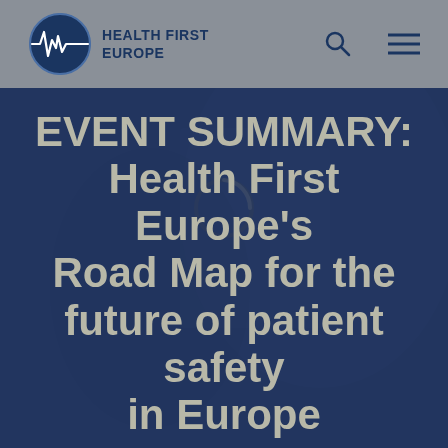[Figure (logo): Health First Europe logo: circular emblem with heartbeat/ECG waveform and organization name in dark blue]
EVENT SUMMARY: Health First Europe's Road Map for the future of patient safety in Europe